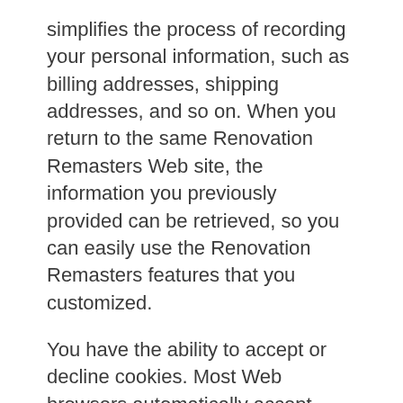simplifies the process of recording your personal information, such as billing addresses, shipping addresses, and so on. When you return to the same Renovation Remasters Web site, the information you previously provided can be retrieved, so you can easily use the Renovation Remasters features that you customized.
You have the ability to accept or decline cookies. Most Web browsers automatically accept cookies, but you can usually modify your browser setting to decline cookies if you prefer. If you choose to decline cookies, you may not be able to fully experience the interactive features of the Renovation Remasters services or Web sites you visit.
Security of your Personal Information